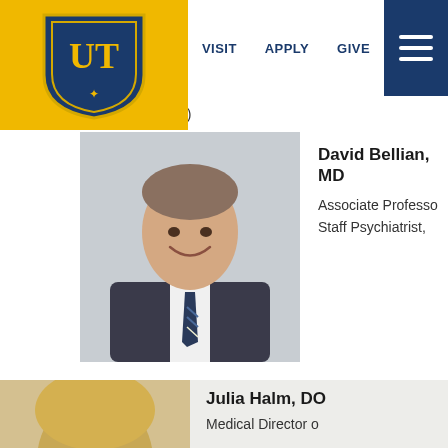UT — VISIT  APPLY  GIVE
orizontally to scroll the table.)
[Figure (photo): Professional headshot of David Bellian, MD — man in dark suit with striped tie, short hair, smiling]
David Bellian, MD
Associate Professo
Staff Psychiatrist,
[Figure (photo): Partial headshot of Julia Halm, DO — woman with blonde hair]
Julia Halm, DO
Medical Director o